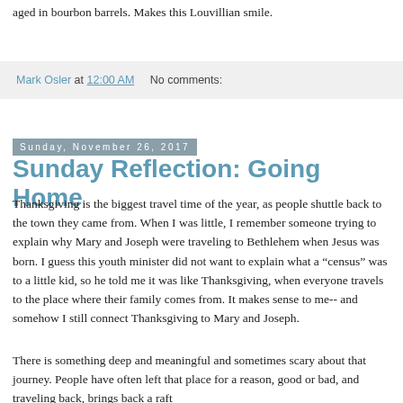aged in bourbon barrels. Makes this Louvillian smile.
Mark Osler at 12:00 AM   No comments:
Sunday, November 26, 2017
Sunday Reflection: Going Home
Thanksgiving is the biggest travel time of the year, as people shuttle back to the town they came from. When I was little, I remember someone trying to explain why Mary and Joseph were traveling to Bethlehem when Jesus was born. I guess this youth minister did not want to explain what a "census" was to a little kid, so he told me it was like Thanksgiving, when everyone travels to the place where their family comes from. It makes sense to me-- and somehow I still connect Thanksgiving to Mary and Joseph.
There is something deep and meaningful and sometimes scary about that journey. People have often left that place for a reason, good or bad, and traveling back, brings back a raft